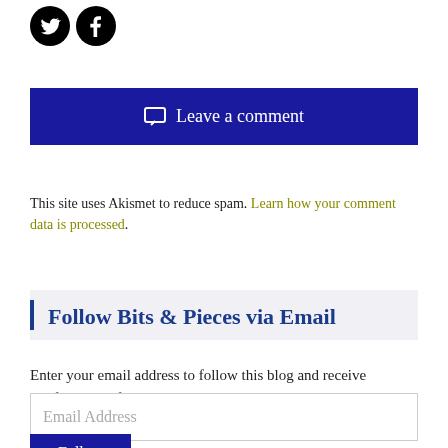[Figure (illustration): Twitter and Facebook social media icons as black circles with white logos]
Leave a comment
This site uses Akismet to reduce spam. Learn how your comment data is processed.
Follow Bits & Pieces via Email
Enter your email address to follow this blog and receive notifications of new posts by email.
Email Address
Follow